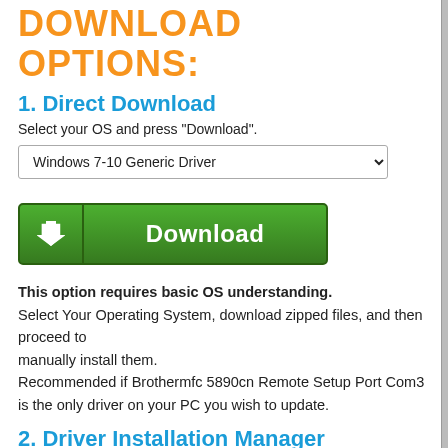DOWNLOAD OPTIONS:
1. Direct Download
Select your OS and press "Download".
Windows 7-10 Generic Driver
[Figure (other): Green Download button with arrow icon and label 'Download']
This option requires basic OS understanding. Select Your Operating System, download zipped files, and then proceed to manually install them. Recommended if Brothermfc 5890cn Remote Setup Port Com3 is the only driver on your PC you wish to update.
2. Driver Installation Manager
This option requires no OS understanding.